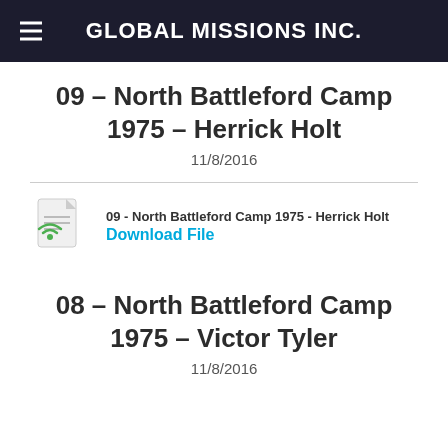GLOBAL MISSIONS INC.
09 – North Battleford Camp 1975 – Herrick Holt
11/8/2016
[Figure (other): File download icon with wifi/signal symbol]
09 - North Battleford Camp 1975 - Herrick Holt
Download File
08 – North Battleford Camp 1975 – Victor Tyler
11/8/2016